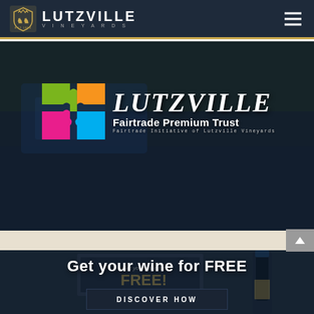LUTZVILLE VINEYARDS
[Figure (screenshot): Hero image showing Lutzville Fairtrade Premium Trust logo with colorful puzzle piece icon on a dark background with vineyard/tractor imagery. Text: LUTZVILLE, Fairtrade Premium Trust, Fairtrade Initiative of Lutzville Vineyards]
[Figure (screenshot): Bottom section showing wine bottles and text 'Get your wine for FREE' with a 'DISCOVER HOW' button on a dark background]